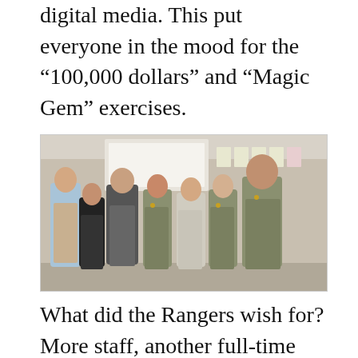digital media. This put everyone in the mood for the “100,000 dollars” and “Magic Gem” exercises.
[Figure (photo): Group photo of seven people standing in a room, four wearing National Park Service ranger uniforms and three in civilian clothes, with a projector screen and posted papers visible in the background.]
What did the Rangers wish for? More staff, another full-time interpreter, an executive